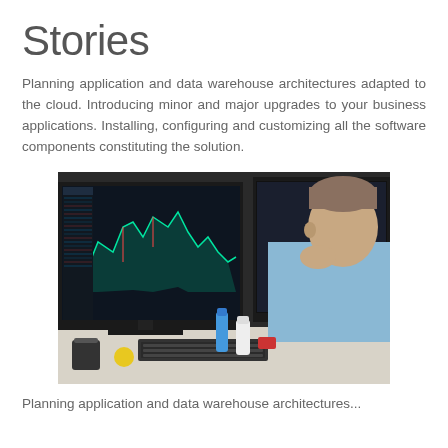Stories
Planning application and data warehouse architectures adapted to the cloud. Introducing minor and major upgrades to your business applications. Installing, configuring and customizing all the software components constituting the solution.
[Figure (photo): Man in light blue t-shirt sitting at a desk looking at multiple monitors showing stock trading charts, with hand on chin in contemplative pose]
Planning application and data warehouse architectures...